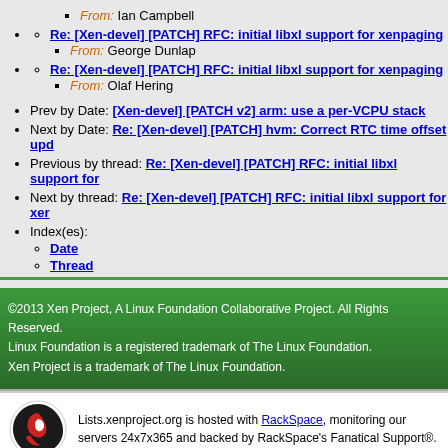From: Ian Campbell
Re: [Xen-devel] [PATCH] RFC: initial libxl support for xenpaging
From: George Dunlap
Re: [Xen-devel] [PATCH] RFC: initial libxl support for xenpaging
From: Olaf Hering
Prev by Date: [Xen-devel] [PATCH v2] arm: use a per-VCPU stack
Next by Date: Re: [Xen-devel] [PATCH] hvm: Correct RTC time offset upd
Previous by thread: Re: [Xen-devel] [PATCH] RFC: initial libxl support for
Next by thread: Re: [Xen-devel] [PATCH] RFC: initial libxl support for xer
Index(es):
Date
Thread
©2013 Xen Project, A Linux Foundation Collaborative Project. All Rights Reserved. Linux Foundation is a registered trademark of The Linux Foundation. Xen Project is a trademark of The Linux Foundation.
Lists.xenproject.org is hosted with RackSpace, monitoring our servers 24x7x365 and backed by RackSpace's Fanatical Support®.